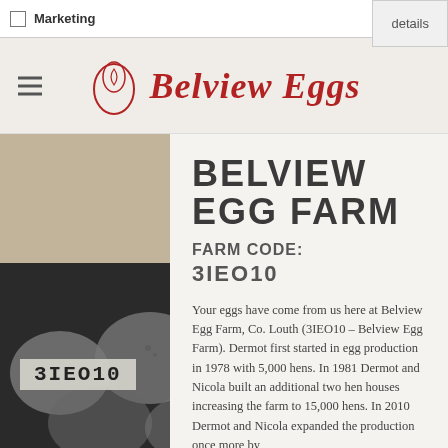Marketing | details
Belview Eggs
BELVIEW EGG FARM
FARM CODE: 3IEO10
Your eggs have come from us here at Belview Egg Farm, Co. Louth (3IEO10 – Belview Egg Farm). Dermot first started in egg production in 1978 with 5,000 hens. In 1981 Dermot and Nicola built an additional two hen houses increasing the farm to 15,000 hens. In 2010 Dermot and Nicola expanded the production once more by
[Figure (photo): Black and white photo of eggs with farm code stamp 3IEO10 overlaid]